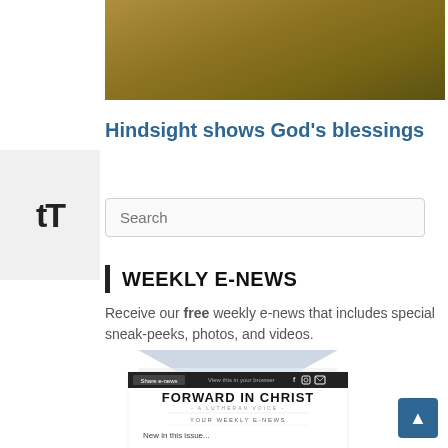[Figure (photo): A golden-toned photo of a person reclining, partially visible at top of page]
Hindsight shows God's blessings
[Figure (other): TT text size toggle icon on left sidebar]
Search
WEEKLY E-NEWS
Receive our free weekly e-news that includes special sneak-peeks, photos, and videos.
[Figure (screenshot): Preview of Forward in Christ weekly e-news newsletter showing envelope graphic, Share e-news button, View this in your browser link, social icons, FORWARD IN CHRIST title, YOUR WEEKLY E-NEWS subtitle, and New in this issue... text]